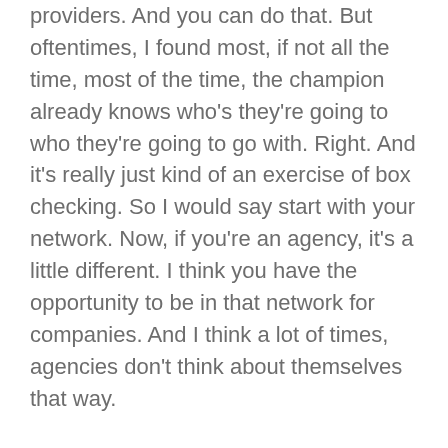providers. And you can do that. But oftentimes, I found most, if not all the time, most of the time, the champion already knows who's they're going to who they're going to go with. Right. And it's really just kind of an exercise of box checking. So I would say start with your network. Now, if you're an agency, it's a little different. I think you have the opportunity to be in that network for companies. And I think a lot of times, agencies don't think about themselves that way.
But I'll give you a couple of personal examples. So when I was at Project Lead the Way, and we were previously, we were using Drupal as our website, kind of content management system. And we wanted to build a new website, you know, the first thing I did was reach out to trendy minds, which